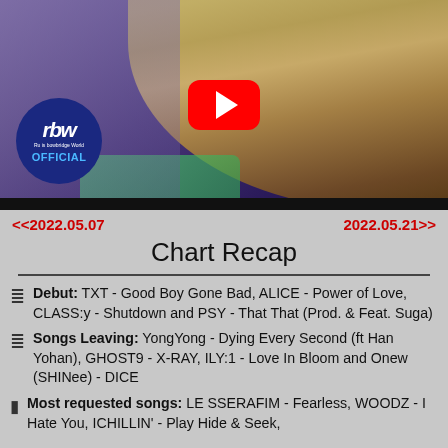[Figure (photo): YouTube video thumbnail showing a person with blonde hair and glasses, wearing a colorful hat and green clothing. RBW OFFICIAL badge visible in bottom left. Red YouTube play button in center.]
<<2022.05.07    2022.05.21>>
Chart Recap
Debut: TXT - Good Boy Gone Bad, ALICE - Power of Love, CLASS:y - Shutdown and PSY - That That (Prod. & Feat. Suga)
Songs Leaving: YongYong - Dying Every Second (ft Han Yohan), GHOST9 - X-RAY, ILY:1 - Love In Bloom and Onew (SHINee) - DICE
Most requested songs: LE SSERAFIM - Fearless, WOODZ - I Hate You, ICHILLIN' - Play Hide & Seek,